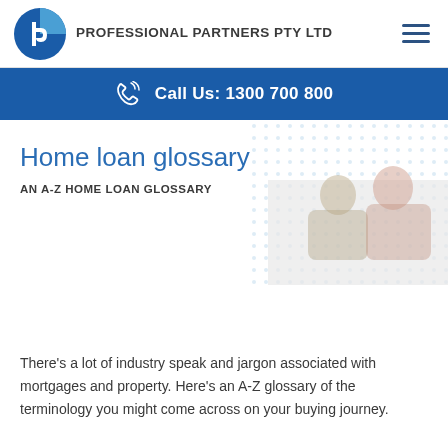PROFESSIONAL PARTNERS PTY LTD
Call Us: 1300 700 800
Home loan glossary
AN A-Z HOME LOAN GLOSSARY
[Figure (photo): Couple smiling and reviewing documents, background hero image with dotted pattern overlay]
There's a lot of industry speak and jargon associated with mortgages and property. Here's an A-Z glossary of the terminology you might come across on your buying journey.